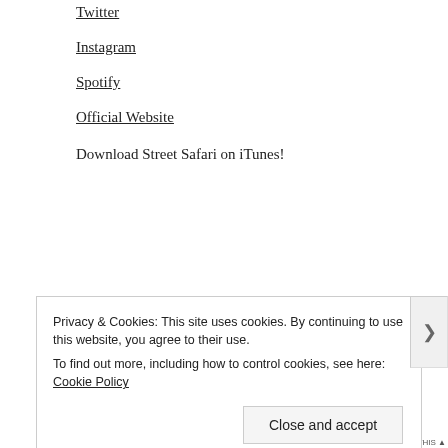Twitter
Instagram
Spotify
Official Website
Download Street Safari on iTunes!
Privacy & Cookies: This site uses cookies. By continuing to use this website, you agree to their use.
To find out more, including how to control cookies, see here: Cookie Policy
Close and accept